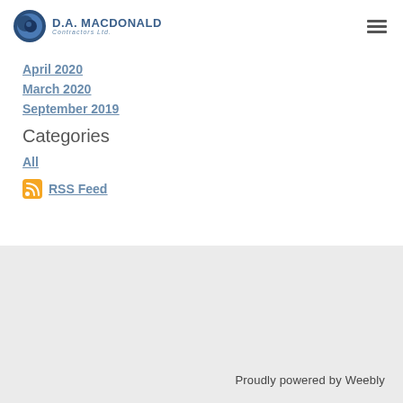D.A. MACDONALD Contractors Ltd.
April 2020
March 2020
September 2019
Categories
All
RSS Feed
Proudly powered by Weebly